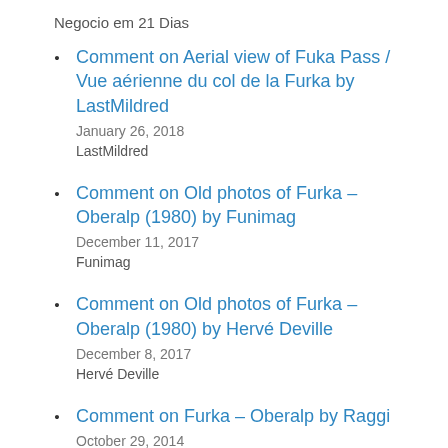Negocio em 21 Dias
Comment on Aerial view of Fuka Pass / Vue aérienne du col de la Furka by LastMildred
January 26, 2018
LastMildred
Comment on Old photos of Furka – Oberalp (1980) by Funimag
December 11, 2017
Funimag
Comment on Old photos of Furka – Oberalp (1980) by Hervé Deville
December 8, 2017
Hervé Deville
Comment on Furka – Oberalp by Raggi
October 29, 2014
Raggi